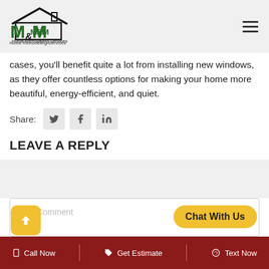[Figure (logo): M&M Home Remodeling Services logo with house icon in green and black]
cases, you'll benefit quite a lot from installing new windows, as they offer countless options for making your home more beautiful, energy-efficient, and quiet.
Share:
LEAVE A REPLY
Your Comment
Call Now | Get Estimate | Text Now